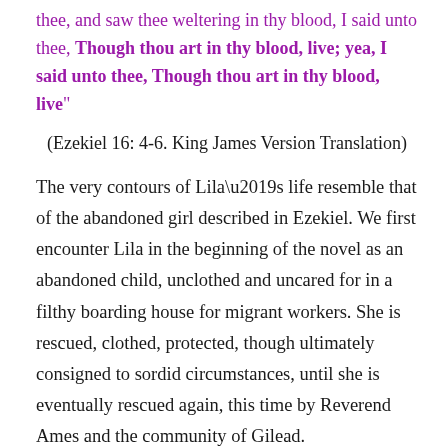thee, and saw thee weltering in thy blood, I said unto thee, Though thou art in thy blood, live; yea, I said unto thee, Though thou art in thy blood, live"
(Ezekiel 16: 4-6. King James Version Translation)
The very contours of Lila’s life resemble that of the abandoned girl described in Ezekiel. We first encounter Lila in the beginning of the novel as an abandoned child, unclothed and uncared for in a filthy boarding house for migrant workers. She is rescued, clothed, protected, though ultimately consigned to sordid circumstances, until she is eventually rescued again, this time by Reverend Ames and the community of Gilead.
In the translation used by Robinson, the phrase...